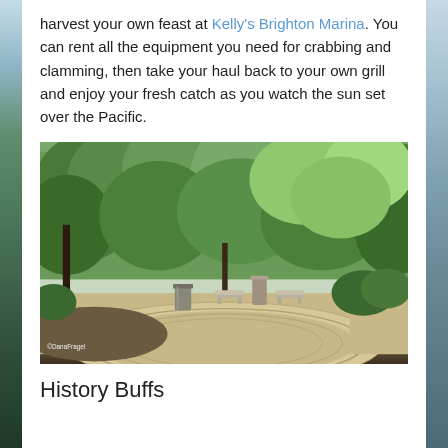harvest your own feast at Kelly's Brighton Marina. You can rent all the equipment you need for crabbing and clamming, then take your haul back to your own grill and enjoy your fresh catch as you watch the sun set over the Pacific.
[Figure (photo): Outdoor park scene with paved circular path, wooden benches, a trash can, and lush green trees in the background. Photo credit: ©DanaFragel]
History Buffs